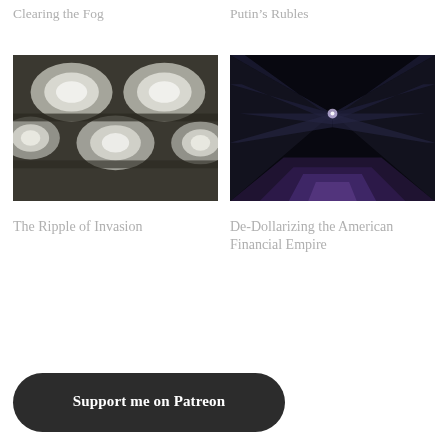Clearing the Fog
Putin's Rubles
[Figure (photo): Architectural ceiling with circular openings, shot from below in black and white tones]
[Figure (photo): Dark tunnel corridor with triangular perspective, lit by purple/blue lights receding into the distance]
The Ripple of Invasion
De-Dollarizing the American Financial Empire
Support me on Patreon